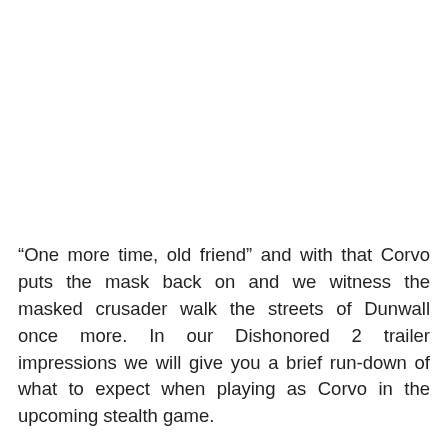“One more time, old friend” and with that Corvo puts the mask back on and we witness the masked crusader walk the streets of Dunwall once more. In our Dishonored 2 trailer impressions we will give you a brief run-down of what to expect when playing as Corvo in the upcoming stealth game.